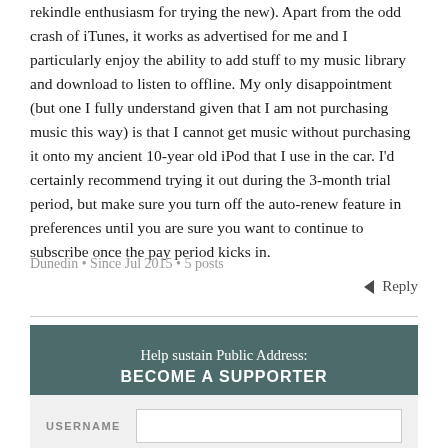rekindle enthusiasm for trying the new). Apart from the odd crash of iTunes, it works as advertised for me and I particularly enjoy the ability to add stuff to my music library and download to listen to offline. My only disappointment (but one I fully understand given that I am not purchasing music this way) is that I cannot get music without purchasing it onto my ancient 10-year old iPod that I use in the car. I'd certainly recommend trying it out during the 3-month trial period, but make sure you turn off the auto-renew feature in preferences until you are sure you want to continue to subscribe once the pay period kicks in.
Dunedin • Since Jul 2015 • 5 posts
Reply
Help sustain Public Address: BECOME A SUPPORTER
USERNAME